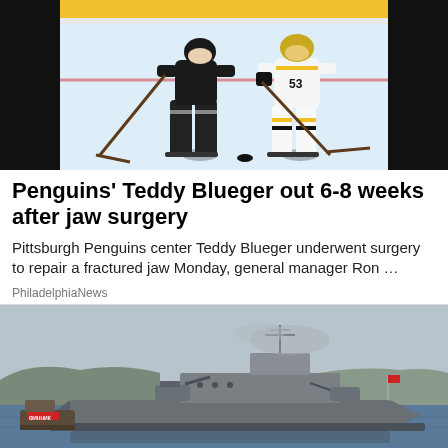[Figure (photo): Two ice hockey players on rink, one in black uniform and one in white/yellow Penguins uniform with number 53, battling for puck with sticks on ice.]
Penguins' Teddy Blueger out 6-8 weeks after jaw surgery
Pittsburgh Penguins center Teddy Blueger underwent surgery to repair a fractured jaw Monday, general manager Ron …
PhiladelphiaNews
[Figure (photo): A large gray naval warship sailing in a harbor or bay with hilly coastline in the background, with a smaller tugboat visible alongside.]